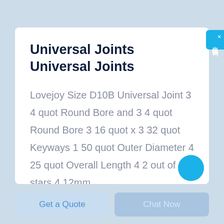Universal Joints Universal Joints
Lovejoy Size D10B Universal Joint 3 4 quot Round Bore and 3 4 quot Round Bore 3 16 quot x 3 32 quot Keyways 1 50 quot Outer Diameter 4 25 quot Overall Length 4 2 out of 5 stars 4 12mm
Get a Quote
Chat Now